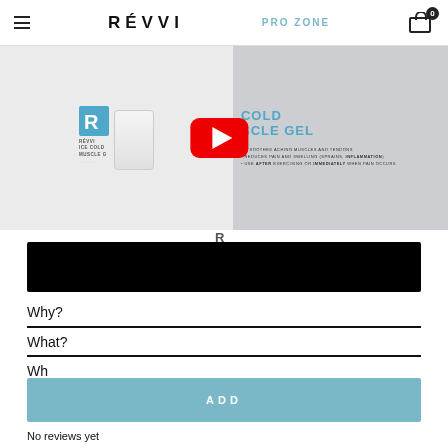RÉVVI | PRO ZONE | Cart (0)
[Figure (screenshot): RÉVVI Ice Cold Muscle Gel product page screenshot showing product can, YouTube play button overlay, product title 'ICE COLD MUSCLE GEL' in blue, bullet points: soothes aching muscles and tendons, reduces pain and swelling (sprains, inflammation), use after exercising or immediately when pain occurs]
[Figure (other): Black video player bar]
Why?
What?
No reviews yet